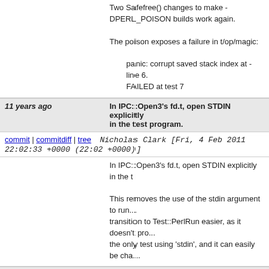Two Safefree() changes to make - DPERL_POISON builds work again.

The poison exposes a failure in t/op/magic:

    panic: corrupt saved stack index at - line 6.
    FAILED at test 7
11 years ago   In IPC::Open3's fd.t, open STDIN explicitly in the test program.
commit | commitdiff | tree   Nicholas Clark [Fri, 4 Feb 2011 22:02:33 +0000 (22:02 +0000)]
In IPC::Open3's fd.t, open STDIN explicitly in the t

This removes the use of the stdin argument to run... transition to Test::PerlRun easier, as it doesn't pro... the only test using 'stdin', and it can easily be cha...
11 years ago   In IPC::Open3's fd.t, correct the code added in 1f563db471aa8a00.
commit | commitdiff | tree   Nicholas Clark [Fri, 4 Feb 2011 21:50:02 +0000 (21:50 +0000)]
In IPC::Open3's fd.t, correct the code added in 1f5...

C<q_Pie_> is not the same as C<q _Pie_> - the fo...